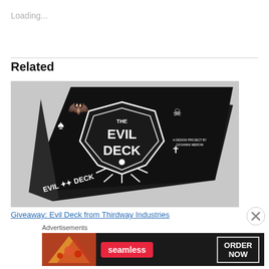Loading...
Related
[Figure (photo): A black card deck box labeled 'The Evil Deck' with white illustrated graphics including a bat, skull, and other spooky symbols. The side of the box reads 'Evil Deck'. Dark themed playing card box.]
Giveaway: Evil Deck from Thirdway Industries
Advertisements
[Figure (screenshot): Seamless food delivery advertisement banner showing pizza on the left, the Seamless logo in red center, and 'ORDER NOW' button on the right, all on a dark background.]